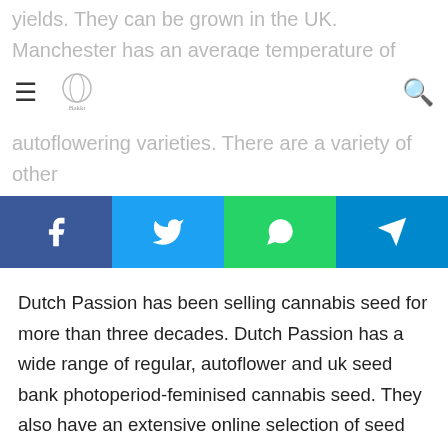yields. They can be grown in the UK. Manchester has an average temperature of 10.5 degrees Celsius which is perfect for cultivating hardy strains as well as autoflowering varieties. There are a variety of other
≡  [logo]  🔍
[Figure (other): Social share buttons: Facebook (blue), Twitter (cyan), WhatsApp (green), Telegram (dark blue)]
Dutch Passion has been selling cannabis seed for more than three decades. Dutch Passion has a wide range of regular, autoflower and uk seed bank photoperiod-feminised cannabis seed. They also have an extensive online selection of seed varieties. If you're looking for a top UK seedbank, investigate Dutch Passion. Dutch Passion is a company with more than 30 years of expertise and is the best source for seeds in Manchester.
PK Pukka Seeds